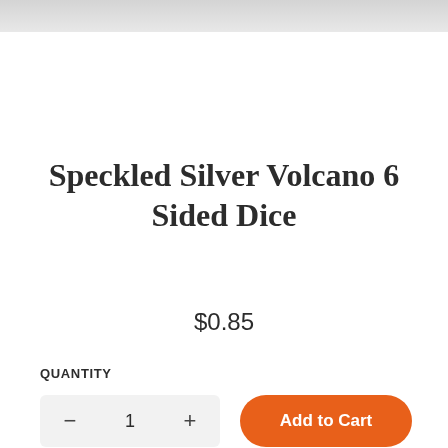[Figure (photo): Top portion of a product image (light grey/silver speckled surface visible at top of page)]
Speckled Silver Volcano 6 Sided Dice
$0.85
QUANTITY
− 1 +
Add to Cart